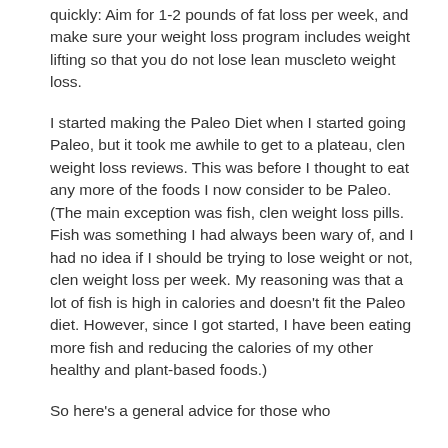quickly: Aim for 1-2 pounds of fat loss per week, and make sure your weight loss program includes weight lifting so that you do not lose lean muscleto weight loss.
I started making the Paleo Diet when I started going Paleo, but it took me awhile to get to a plateau, clen weight loss reviews. This was before I thought to eat any more of the foods I now consider to be Paleo. (The main exception was fish, clen weight loss pills. Fish was something I had always been wary of, and I had no idea if I should be trying to lose weight or not, clen weight loss per week. My reasoning was that a lot of fish is high in calories and doesn't fit the Paleo diet. However, since I got started, I have been eating more fish and reducing the calories of my other healthy and plant-based foods.)
So here's a general advice for those who